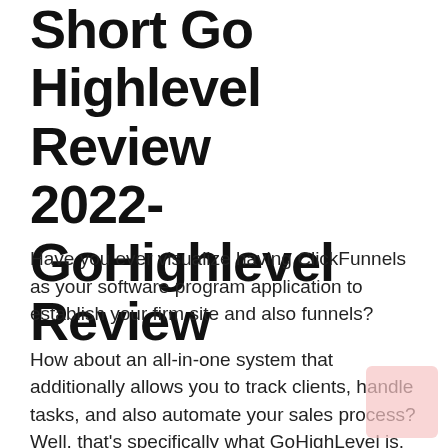Short Go Highlevel Review 2022- GoHighlevel Review
Have you ever visualize having ClickFunnels as your software program application to establish your firm site and also funnels?
How about an all-in-one system that additionally allows you to track clients, handle tasks, and also automate your sales process? Well, that’s specifically what GoHighLevel is.
Cont… (cut off at bottom)